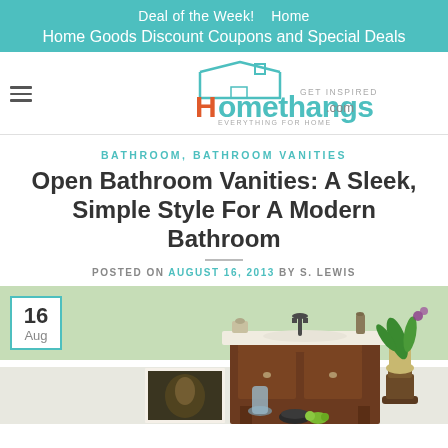Deal of the Week!   Home
Home Goods Discount Coupons and Special Deals
[Figure (logo): Homethangs.com logo with house outline, GET INSPIRED and EVERYTHING FOR HOME taglines]
BATHROOM, BATHROOM VANITIES
Open Bathroom Vanities: A Sleek, Simple Style For A Modern Bathroom
POSTED ON AUGUST 16, 2013 BY S. LEWIS
[Figure (photo): Bathroom vanity photo showing a dark wood open vanity cabinet with white countertop and sink, green walls, potted orchid on pedestal, framed artwork, decorative bottles and bowls. Date badge overlay showing 16 Aug.]